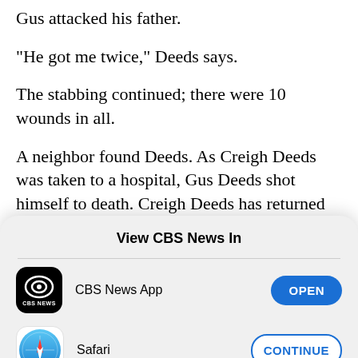Gus attacked his father.
"He got me twice," Deeds says.
The stabbing continued; there were 10 wounds in all.
A neighbor found Deeds. As Creigh Deeds was taken to a hospital, Gus Deeds shot himself to death. Creigh Deeds has returned to the Virginia Senate, where he's introduced bills to extend the length of
[Figure (screenshot): iOS app open-in dialog titled 'View CBS News In' with two options: CBS News App with an OPEN button, and Safari with a CONTINUE button]